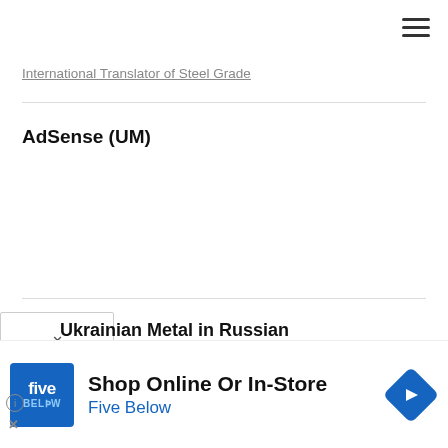International Translator of Steel Grade
AdSense (UM)
Ukrainian Metal in Russian
[Figure (screenshot): Five Below advertisement banner: blue logo with 'five BEL W' text, headline 'Shop Online Or In-Store', subtitle 'Five Below', and a blue navigation arrow icon on the right.]